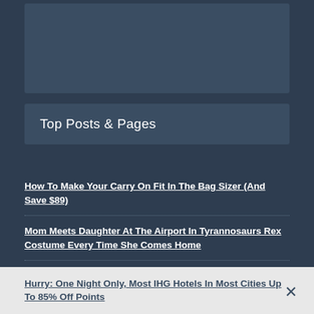[Figure (other): Dark blue-gray rectangular advertisement block placeholder]
Top Posts & Pages
How To Make Your Carry On Fit In The Bag Sizer (And Save $89)
Mom Meets Daughter At The Airport In Tyrannosaurs Rex Costume Every Time She Comes Home
5 Reasons To Be Excited About American Airlines
Hurry: One Night Only, Most IHG Hotels In Most Cities Up To 85% Off Points